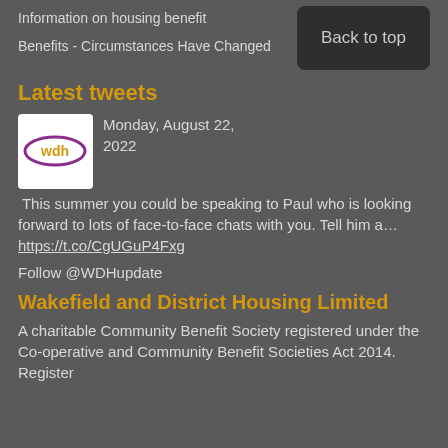Information on housing benefit
Benefits - Circumstances Have Changed
Latest tweets
Monday, August 22, 2022 This summer you could be speaking to Paul who is looking forward to lots of face-to-face chats with you. Tell him a… https://t.co/CgUGuP4Fxg
Follow @WDHupdate
Wakefield and District Housing Limited
A charitable Community Benefit Society registered under the Co-operative and Community Benefit Societies Act 2014. Register